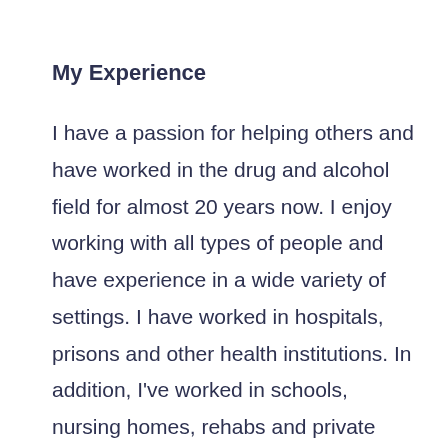My Experience
I have a passion for helping others and have worked in the drug and alcohol field for almost 20 years now. I enjoy working with all types of people and have experience in a wide variety of settings. I have worked in hospitals, prisons and other health institutions. In addition, I've worked in schools, nursing homes, rehabs and private practices